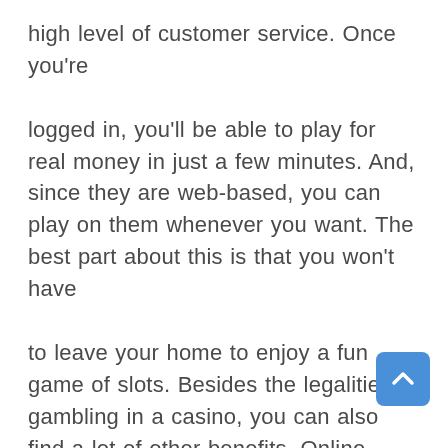high level of customer service. Once you're logged in, you'll be able to play for real money in just a few minutes. And, since they are web-based, you can play on them whenever you want. The best part about this is that you won't have to leave your home to enjoy a fun game of slots. Besides the legalities of gambling in a casino, you can also find a lot of other benefits. Online casinos offer many forms of gambling, from sports betting to online lottery games. Furthermore, you can decide the rules and regulations of these games. You don't need to be a professional to enjoy casino-quality games. If you're new to the game, you can take the time to learn more about it. Moreover, you'll be able to set your own